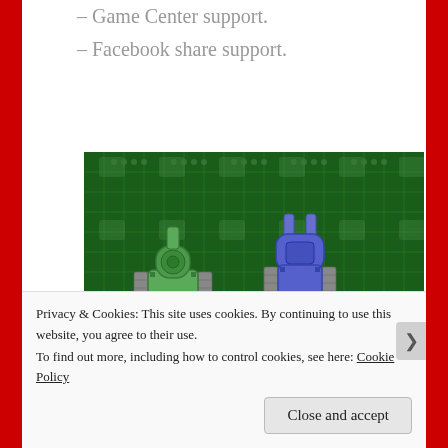– Game Center support.
– Facebook share support.
[Figure (screenshot): A pixel-art style video game screenshot showing two tanks on a green grid background. A green tank is on the left and a blue/purple tank is on the right, both viewed from above. Red elements are visible at the bottom of the screen.]
Privacy & Cookies: This site uses cookies. By continuing to use this website, you agree to their use.
To find out more, including how to control cookies, see here: Cookie Policy
Close and accept